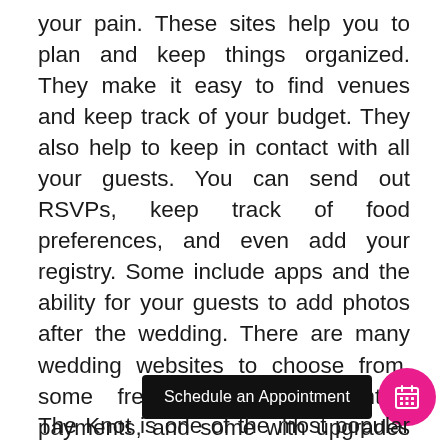your pain. These sites help you to plan and keep things organized. They make it easy to find venues and keep track of your budget. They also help to keep in contact with all your guests. You can send out RSVPs, keep track of food preferences, and even add your registry. Some include apps and the ability for your guests to add photos after the wedding. There are many wedding websites to choose from, some free, some with monthly payments, and some with upgrades available for a small cost.
[Figure (other): A black 'Schedule an Appointment' button and a magenta/pink circular calendar icon button, positioned side by side in the lower right area of the page.]
The Knot is one of the most popular wedding